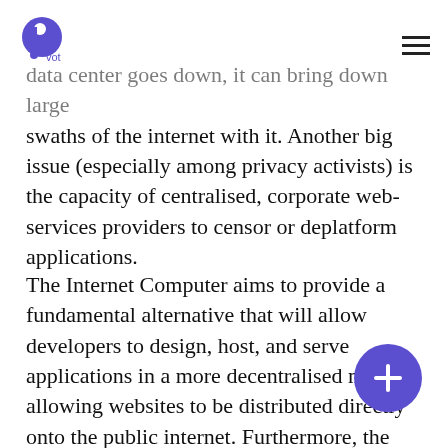Pvot logo and hamburger menu
data center goes down, it can bring down large swaths of the internet with it. Another big issue (especially among privacy activists) is the capacity of centralised, corporate web-services providers to censor or deplatform applications.
The Internet Computer aims to provide a fundamental alternative that will allow developers to design, host, and serve applications in a more decentralised manner, allowing websites to be distributed directly onto the public internet. Furthermore, the Internet Computer would promote open source and transparent software